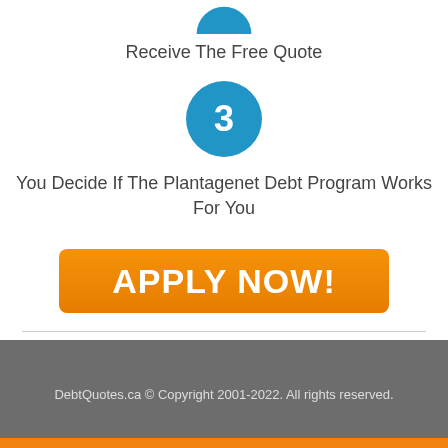Receive The Free Quote
[Figure (infographic): Blue circle with number 3 inside]
You Decide If The Plantagenet Debt Program Works For You
[Figure (other): Orange APPLY NOW! button]
DebtQuotes.ca © Copyright 2001-2022. All rights reserved.